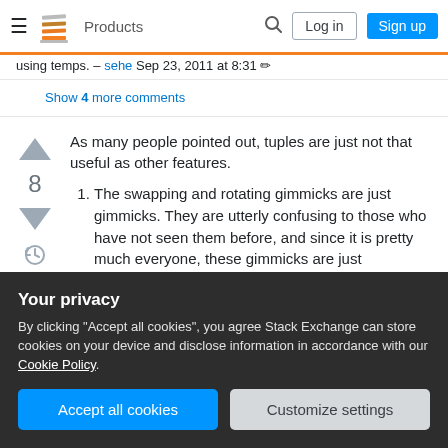≡  [Stack Exchange logo]  Products  🔍  Log in  Sign up
using temps. – sehe Sep 23, 2011 at 8:31 ✏
Show 4 more comments
As many people pointed out, tuples are just not that useful as other features.
1. The swapping and rotating gimmicks are just gimmicks. They are utterly confusing to those who have not seen them before, and since it is pretty much everyone, these gimmicks are just
Your privacy
By clicking "Accept all cookies", you agree Stack Exchange can store cookies on your device and disclose information in accordance with our Cookie Policy.
Accept all cookies   Customize settings
values, if they are mutually convertible, and not